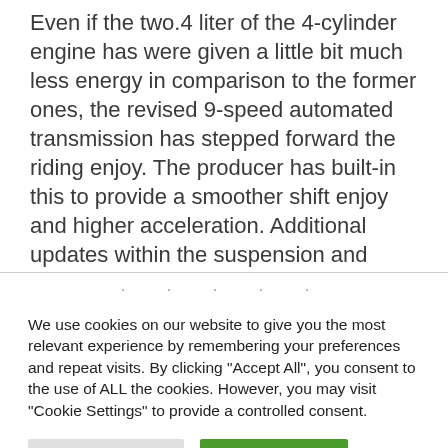Even if the two.4 liter of the 4-cylinder engine has were given a little bit much less energy in comparison to the former ones, the revised 9-speed automated transmission has stepped forward the riding enjoy. The producer has built-in this to provide a smoother shift enjoy and higher acceleration. Additional updates within the suspension and guidance can make stronger the efficiency of this automobile.
We use cookies on our website to give you the most relevant experience by remembering your preferences and repeat visits. By clicking "Accept All", you consent to the use of ALL the cookies. However, you may visit "Cookie Settings" to provide a controlled consent.